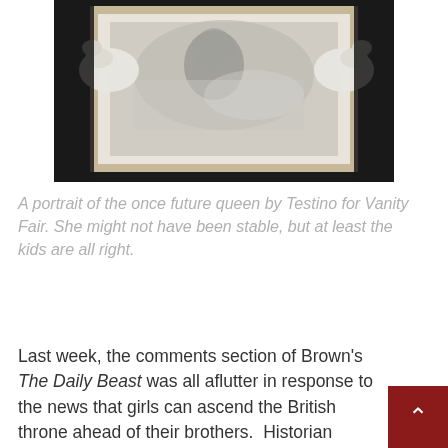[Figure (photo): Black and white photograph of a woman reclining, held in a framed portrait with white-gloved hands holding the frame on either side. The image is styled as a fine art portrait.]
A portrait of the once future queen by Testino for Vanity Fair. She might not have been stable, but at least the kids are all right.
Last week, the comments section of Brown's The Daily Beast was all aflutter in response to the news that girls can ascend the British throne ahead of their brothers.  Historian Robert Andrews, whose author picture looks like a byline from an